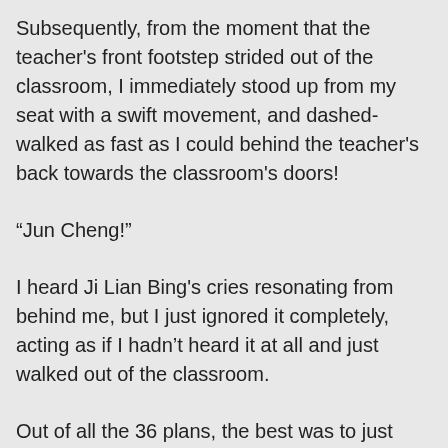Subsequently, from the moment that the teacher's front footstep strided out of the classroom, I immediately stood up from my seat with a swift movement, and dashed-walked as fast as I could behind the teacher's back towards the classroom's doors!
“Jun Cheng!”
I heard Ji Lian Bing's cries resonating from behind me, but I just ignored it completely, acting as if I hadn’t heard it at all and just walked out of the classroom.
Out of all the 36 plans, the best was to just escape!